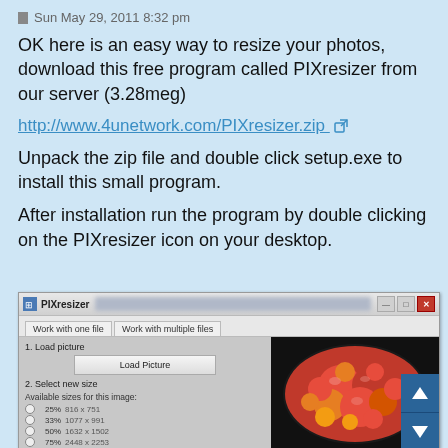Sun May 29, 2011 8:32 pm
OK here is an easy way to resize your photos, download this free program called PIXresizer from our server (3.28meg)
http://www.4unetwork.com/PIXresizer.zip
Unpack the zip file and double click setup.exe to install this small program.
After installation run the program by double clicking on the PIXresizer icon on your desktop.
[Figure (screenshot): Screenshot of PIXresizer application showing 'Work with one file' and 'Work with multiple files' tabs, a Load Picture button, size selection options (25%=816x751, 33%=1077x991, 50%=1632x1502, 75%=2448x2253, 100%=3264x3004), and a preview of tomatoes on the right side.]